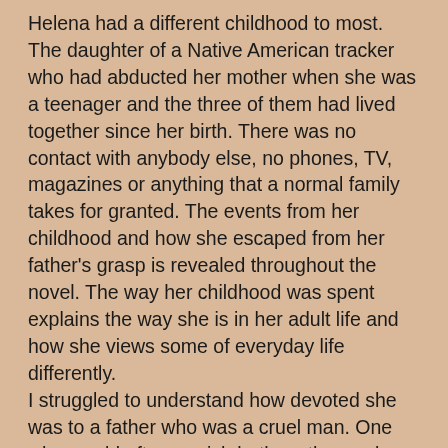Helena had a different childhood to most. The daughter of a Native American tracker who had abducted her mother when she was a teenager and the three of them had lived together since her birth. There was no contact with anybody else, no phones, TV, magazines or anything that a normal family takes for granted. The events from her childhood and how she escaped from her father's grasp is revealed throughout the novel. The way her childhood was spent explains the way she is in her adult life and how she views some of everyday life differently.
I struggled to understand how devoted she was to a father who was a cruel man. One who would often punish both mother and child physically and mentally if they disappointed him. Even though I think he loved his daughter it was hard to see anything in him that was likeable.
But despite her childhood I admired the way she moved on to have a family of her own and a successful business that she used the knowledge she gained as a child to create. The fear